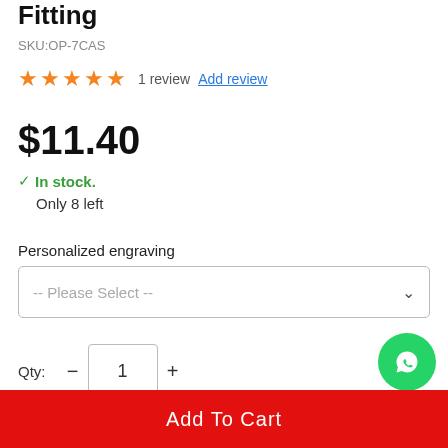Fitting
SKU:OP-7CAS
★★★★★ 1 review Add review
$11.40
✓ In stock. Only 8 left
Personalized engraving
-- Please Select --
Qty: 1
Add To Cart